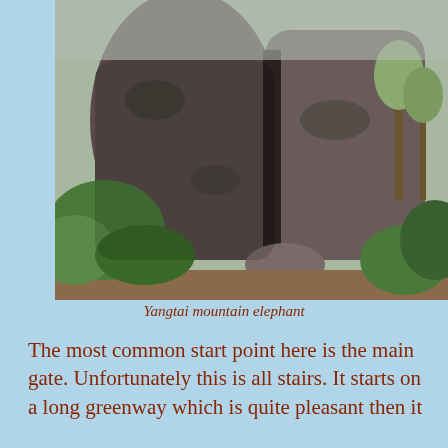[Figure (photo): Large granite rocks/boulders on Yangtai mountain, with lush green vegetation around the base and trees visible in the background.]
Yangtai mountain elephant
The most common start point here is the main gate. Unfortunately this is all stairs. It starts on a long greenway which is quite pleasant then it
[Figure (screenshot): DuckDuckGo advertisement: orange background with text 'Search, browse, and email with more privacy.' and 'All in One Free App' button, alongside a phone mockup with DuckDuckGo logo.]